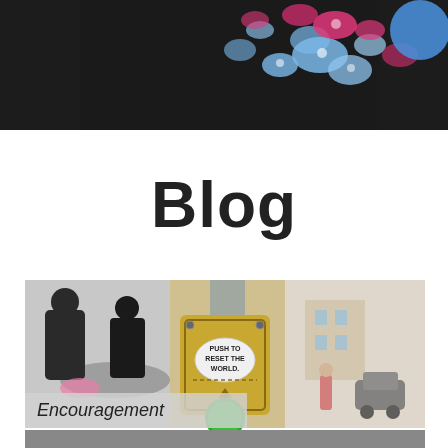[Figure (photo): Top portion of a person wearing a black outfit with blue and pink floral pattern. A blue circle/icon is visible in the top right corner.]
Blog
[Figure (photo): A blog post thumbnail showing a pedestrian crossing button on a metal pole with a label reading 'PUSH TO RESET THE WORLD' and a green button. Background shows people at a table on the left and a street scene on the right. An italic label 'Encouragement' appears in a light gray overlay at the bottom left.]